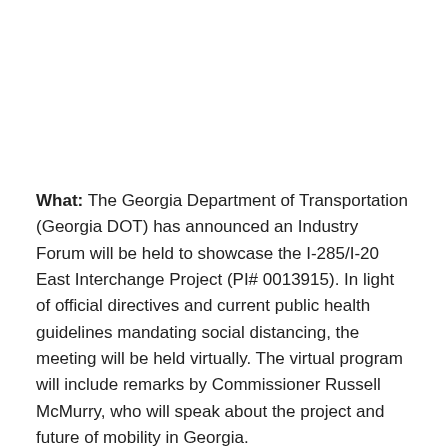What: The Georgia Department of Transportation (Georgia DOT) has announced an Industry Forum will be held to showcase the I-285/I-20 East Interchange Project (PI# 0013915). In light of official directives and current public health guidelines mandating social distancing, the meeting will be held virtually. The virtual program will include remarks by Commissioner Russell McMurry, who will speak about the project and future of mobility in Georgia.
When: Wednesday, May 13, 2020, 8 a.m. EST